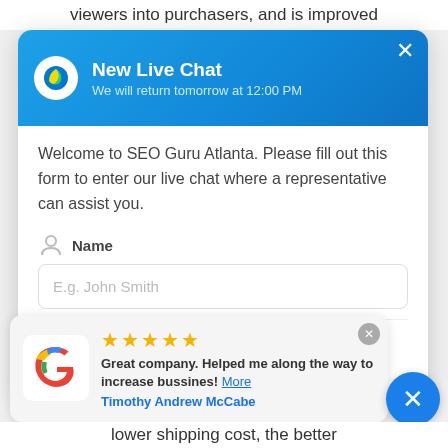viewers into purchasers, and is improved
[Figure (screenshot): Live chat widget for SEO Guru Atlanta with blue gradient header showing 'New Live Chat' and subtitle 'We will return tomorrow at 12:00 PM', with a form body containing a name input field (placeholder: E.g. John Smith), a partially visible email field, and 'Powered by WooSender' branding at the bottom.]
[Figure (screenshot): Google review widget showing 5 gold stars, review text 'Great company. Helped me along the way to increase bussines! More' with reviewer name 'Timothy Andrew McCabe', Google logo on left, close button top right, and a blue circular X button on the right.]
lower shipping cost, the better